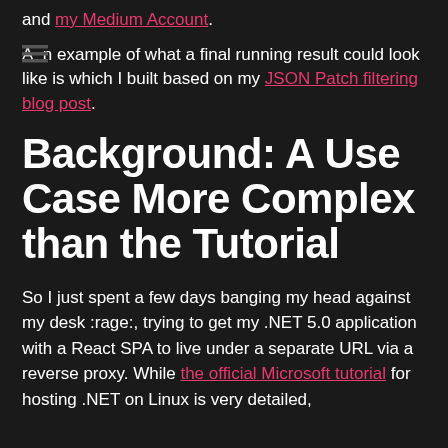and my Medium Account.
An example of what a final running result could look like is which I built based on my JSON Patch filtering blog post.
Background: A Use Case More Complex than the Tutorial
So I just spent a few days banging my head against my desk :rage:, trying to get my .NET 5.0 application with a React SPA to live under a separate URL via a reverse proxy. While the official Microsoft tutorial for hosting .NET on Linux is very detailed,